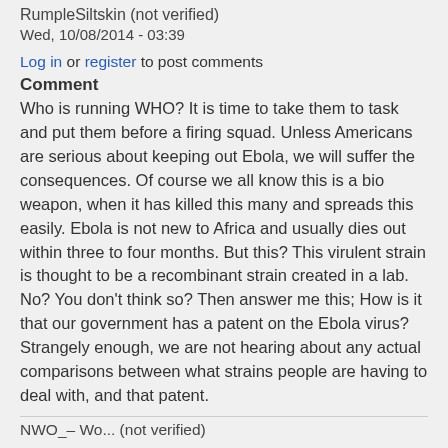RumpleSiltskin (not verified)
Wed, 10/08/2014 - 03:39
Log in or register to post comments
Comment
Who is running WHO? It is time to take them to task and put them before a firing squad. Unless Americans are serious about keeping out Ebola, we will suffer the consequences. Of course we all know this is a bio weapon, when it has killed this many and spreads this easily. Ebola is not new to Africa and usually dies out within three to four months. But this? This virulent strain is thought to be a recombinant strain created in a lab. No? You don't think so? Then answer me this; How is it that our government has a patent on the Ebola virus? Strangely enough, we are not hearing about any actual comparisons between what strains people are having to deal with, and that patent.
NWO_&#8211; Wo... (not verified)